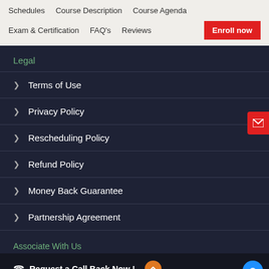Schedules   Course Description   Course Agenda   Exam & Certification   FAQ's   Reviews   Enroll now
Legal
Terms of Use
Privacy Policy
Rescheduling Policy
Refund Policy
Money Back Guarantee
Partnership Agreement
Associate With Us
Request a Call Back Now !